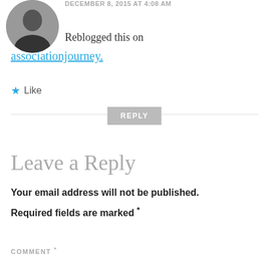[Figure (photo): Circular avatar photo of a person in a black outfit, cropped at top of page]
DECEMBER 8, 2015 AT 4:08 AM
Reblogged this on
associationjourney.
Like
REPLY
Leave a Reply
Your email address will not be published. Required fields are marked *
COMMENT *